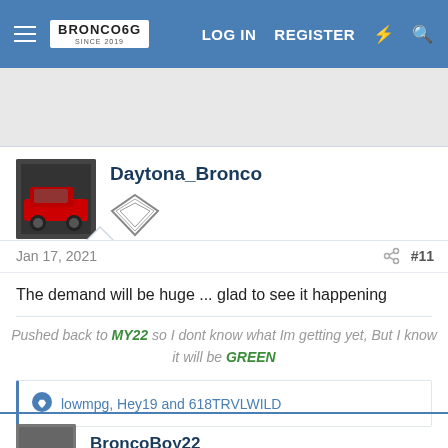BRONCO6G.COM SINCE 2019 | LOG IN | REGISTER
[Figure (screenshot): Gray advertisement banner area]
Daytona_Bronco
[Figure (logo): Diamond-shaped badge/rank icon]
Jan 17, 2021
#11
The demand will be huge ... glad to see it happening
Pushed back to MY22 so I dont know what Im getting yet, But I know it will be GREEN
lowmpg, Hey19 and 618TRVLWILD
BroncoBoy22